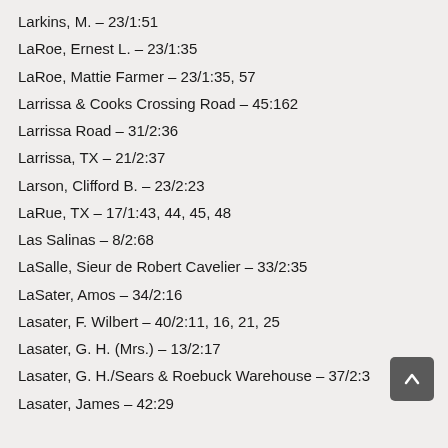Larkins, M. – 23/1:51
LaRoe, Ernest L. – 23/1:35
LaRoe, Mattie Farmer – 23/1:35, 57
Larrissa & Cooks Crossing Road – 45:162
Larrissa Road – 31/2:36
Larrissa, TX – 21/2:37
Larson, Clifford B. – 23/2:23
LaRue, TX – 17/1:43, 44, 45, 48
Las Salinas – 8/2:68
LaSalle, Sieur de Robert Cavelier – 33/2:35
LaSater, Amos – 34/2:16
Lasater, F. Wilbert – 40/2:11, 16, 21, 25
Lasater, G. H. (Mrs.) – 13/2:17
Lasater, G. H./Sears & Roebuck Warehouse – 37/2:3
Lasater, James – 42:29